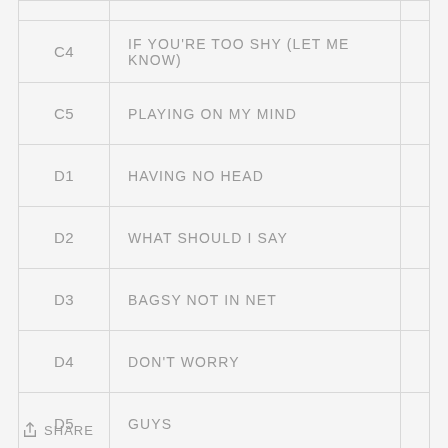| Code | Title |  |
| --- | --- | --- |
| C4 | IF YOU'RE TOO SHY (LET ME KNOW) |  |
| C5 | PLAYING ON MY MIND |  |
| D1 | HAVING NO HEAD |  |
| D2 | WHAT SHOULD I SAY |  |
| D3 | BAGSY NOT IN NET |  |
| D4 | DON'T WORRY |  |
| D5 | GUYS |  |
SHARE